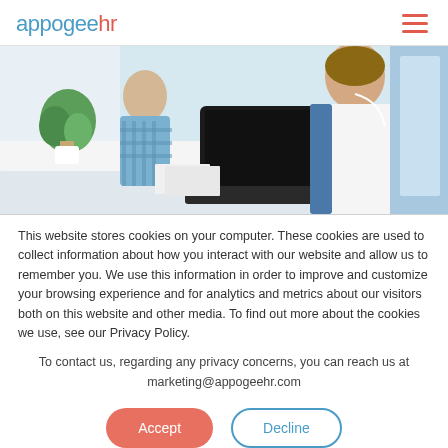appogeehr
[Figure (photo): Office scene with people working at a desk with a laptop, bright open workspace]
This website stores cookies on your computer. These cookies are used to collect information about how you interact with our website and allow us to remember you. We use this information in order to improve and customize your browsing experience and for analytics and metrics about our visitors both on this website and other media. To find out more about the cookies we use, see our Privacy Policy.
To contact us, regarding any privacy concerns, you can reach us at marketing@appogeehr.com